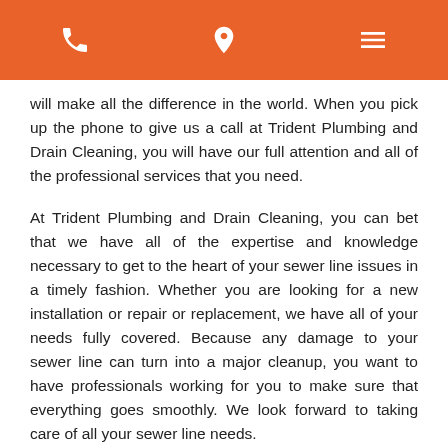[phone icon] [location icon] [menu icon]
will make all the difference in the world. When you pick up the phone to give us a call at Trident Plumbing and Drain Cleaning, you will have our full attention and all of the professional services that you need.
At Trident Plumbing and Drain Cleaning, you can bet that we have all of the expertise and knowledge necessary to get to the heart of your sewer line issues in a timely fashion. Whether you are looking for a new installation or repair or replacement, we have all of your needs fully covered. Because any damage to your sewer line can turn into a major cleanup, you want to have professionals working for you to make sure that everything goes smoothly. We look forward to taking care of all your sewer line needs.
When a sewer line is old or made from lesser materials, you could be faced with a number of problems. Any slight fracture or corrosion could turn into something major,